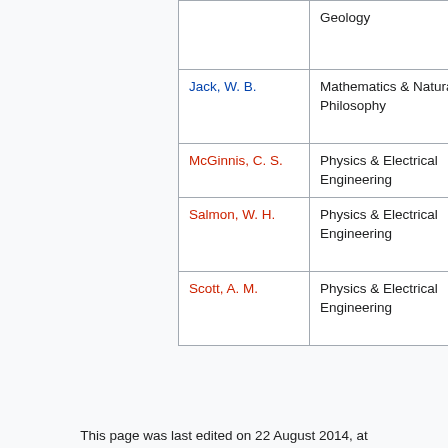| Name | Subject | Years |
| --- | --- | --- |
|  | Geology |  |
| Jack, W. B. | Mathematics & Natural Philosophy | 1840 - 1885 |
| McGinnis, C. S. | Physics & Electrical Engineering | 1911 - |
| Salmon, W. H. | Physics & Electrical Engineering | 1906 - 1907 |
| Scott, A. M. | Physics & Electrical Engineering | 1899 - 1906 |
This page was last edited on 22 August 2014, at